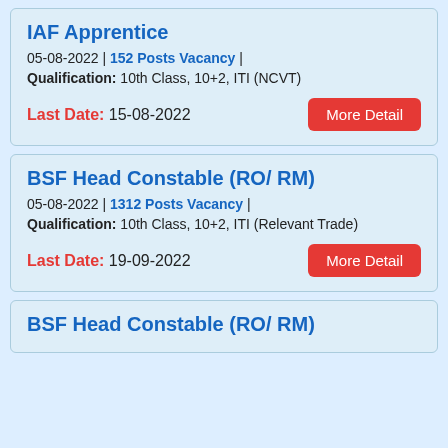IAF Apprentice
05-08-2022 | 152 Posts Vacancy |
Qualification: 10th Class, 10+2, ITI (NCVT)
Last Date: 15-08-2022
BSF Head Constable (RO/ RM)
05-08-2022 | 1312 Posts Vacancy |
Qualification: 10th Class, 10+2, ITI (Relevant Trade)
Last Date: 19-09-2022
BSF Head Constable (RO/ RM)